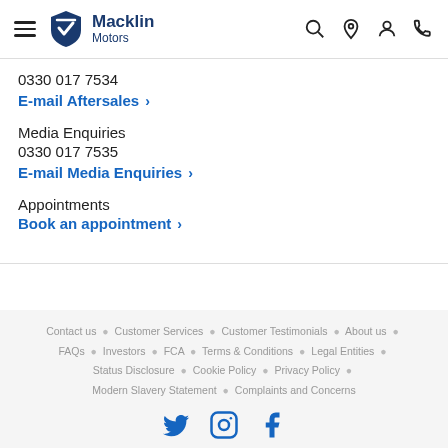Macklin Motors
0330 017 7534
E-mail Aftersales
Media Enquiries
0330 017 7535
E-mail Media Enquiries
Appointments
Book an appointment
Contact us • Customer Services • Customer Testimonials • About us • FAQs • Investors • FCA • Terms & Conditions • Legal Entities • Status Disclosure • Cookie Policy • Privacy Policy • Modern Slavery Statement • Complaints and Concerns